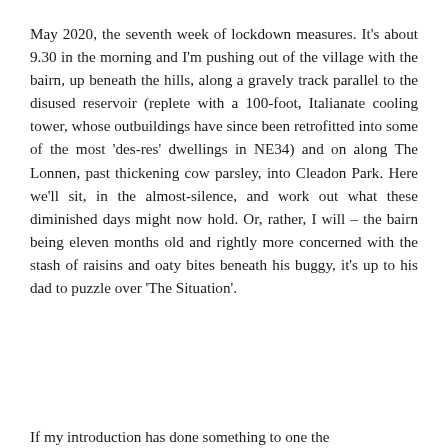May 2020, the seventh week of lockdown measures. It's about 9.30 in the morning and I'm pushing out of the village with the bairn, up beneath the hills, along a gravely track parallel to the disused reservoir (replete with a 100-foot, Italianate cooling tower, whose outbuildings have since been retrofitted into some of the most 'des-res' dwellings in NE34) and on along The Lonnen, past thickening cow parsley, into Cleadon Park. Here we'll sit, in the almost-silence, and work out what these diminished days might now hold. Or, rather, I will – the bairn being eleven months old and rightly more concerned with the stash of raisins and oaty bites beneath his buggy, it's up to his dad to puzzle over 'The Situation'.
If my introduction has done something to one the